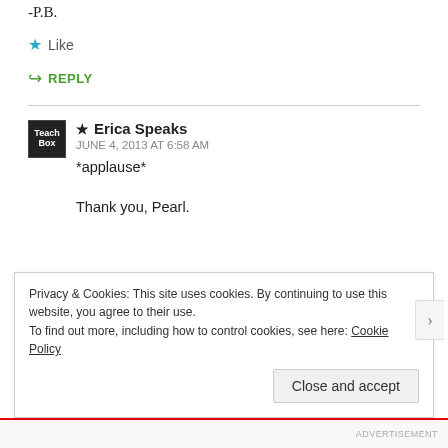-P.B.
Like
REPLY
Erica Speaks
JUNE 4, 2013 AT 6:58 AM
*applause*
Thank you, Pearl.
Privacy & Cookies: This site uses cookies. By continuing to use this website, you agree to their use.
To find out more, including how to control cookies, see here: Cookie Policy
Close and accept